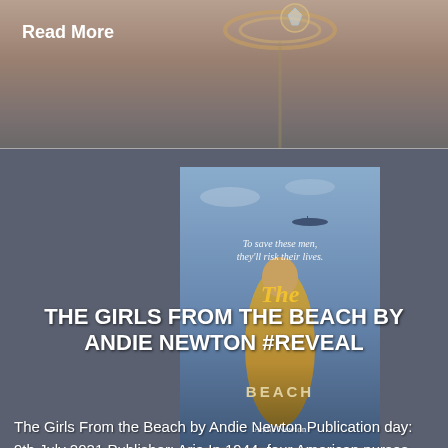Read More
[Figure (photo): Book cover of 'The Girls From the Beach' by Andie Newton, showing a woman in a yellow dress with wartime aircraft in the background against a blue sky]
THE GIRLS FROM THE BEACH BY ANDIE NEWTON #REVEAL
The Girls From the Beach by Andie Newton Publication day: 9th July 2021 Publisher: Aria In 1944, four American nurses disappeared for five days. No one knew what happened to them. Until now. When Kit and Red set foot on French soil during the Normandy landings, they know they have to rely on each other. [...]